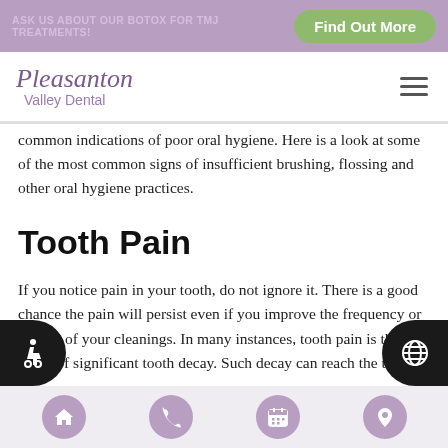ASK US ABOUT OUR BOTOX FOR TMJ TREATMENTS!  Find Out More
[Figure (logo): Pleasanton Valley Dental logo with script and hamburger menu icon]
common indications of poor oral hygiene. Here is a look at some of the most common signs of insufficient brushing, flossing and other oral hygiene practices.
Tooth Pain
If you notice pain in your tooth, do not ignore it. There is a good chance the pain will persist even if you improve the frequency or quality of your cleanings. In many instances, tooth pain is the result of significant tooth decay. Such decay can reach the tooth's inner nerve.
Home | Phone | Calendar | Location